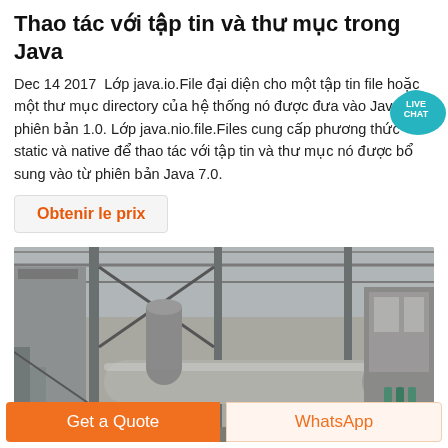Thao tác với tập tin và thư mục trong Java
Dec 14 2017  Lớp java.io.File đại diện cho một tập tin file hoặc một thư mục directory của hệ thống nó được đưa vào Java từ phiên bản 1.0. Lớp java.nio.file.Files cung cấp phương thức static và native để thao tác với tập tin và thư mục nó được bổ sung vào từ phiên bản Java 7.0.
Obtenir le prix
[Figure (photo): Industrial machinery inside a large factory warehouse — large cylindrical drum/rotary kiln, steel frame structures, silos, pipes and conveyor equipment.]
Get a Quote
WhatsApp